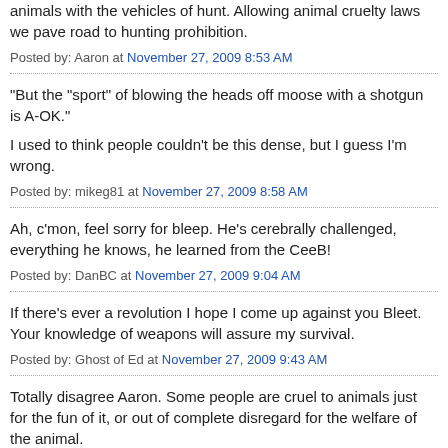animals with the vehicles of hunt. Allowing animal cruelty laws we pave road to hunting prohibition.
Posted by: Aaron at November 27, 2009 8:53 AM
"But the "sport" of blowing the heads off moose with a shotgun is A-OK."
I used to think people couldn't be this dense, but I guess I'm wrong.
Posted by: mikeg81 at November 27, 2009 8:58 AM
Ah, c'mon, feel sorry for bleep. He's cerebrally challenged, everything he knows, he learned from the CeeB!
Posted by: DanBC at November 27, 2009 9:04 AM
If there's ever a revolution I hope I come up against you Bleet. Your knowledge of weapons will assure my survival.
Posted by: Ghost of Ed at November 27, 2009 9:43 AM
Totally disagree Aaron. Some people are cruel to animals just for the fun of it, or out of complete disregard for the welfare of the animal.